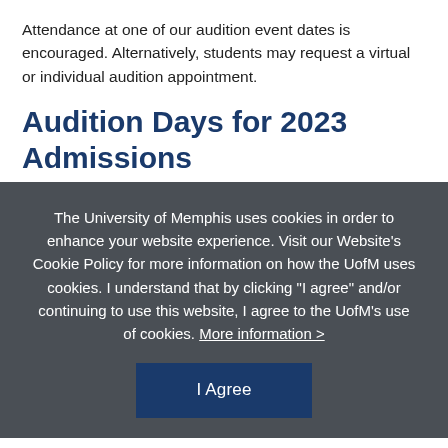Attendance at one of our audition event dates is encouraged. Alternatively, students may request a virtual or individual audition appointment.
Audition Days for 2023 Admissions
The University of Memphis uses cookies in order to enhance your website experience. Visit our Website's Cookie Policy for more information on how the UofM uses cookies. I understand that by clicking "I agree" and/or continuing to use this website, I agree to the UofM's use of cookies. More information >
Audition Day Experience
Audition day activities typically start in the morning and run